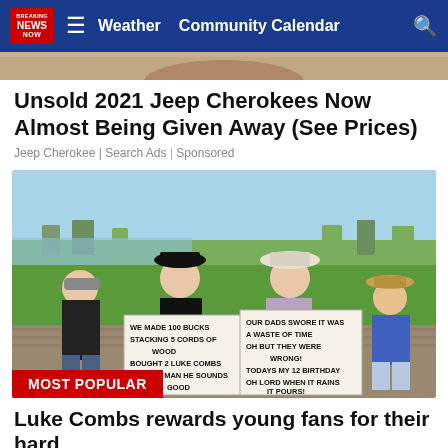NEWS NOW  ≡  Weather  Community Calendar  🔍
[Figure (photo): Top portion of a person's face/head, partially visible at top of page]
Unsold 2021 Jeep Cherokees Now Almost Being Given Away (See Prices)
Jeep Cherokee | Search Ads | Sponsored
[Figure (photo): Four children wearing cowboy hats standing outdoors holding handwritten signs. Left sign reads: WE MADE 100 BUCKS STACKING 5 CORDS OF WOOD BOUGHT 2 LUKE COMBS TICKETS MAN HE SOUNDS GOOD. Right sign reads: OUR DADS SWORE IT WAS A WASTE OF TIME OH BUT THEY WERE WRONG! TODAYS MY 12 BIRTHDAY OH LORD WHEN IT RAINS IT POURS!]
MOST POPULAR
Luke Combs rewards young fans for their hard